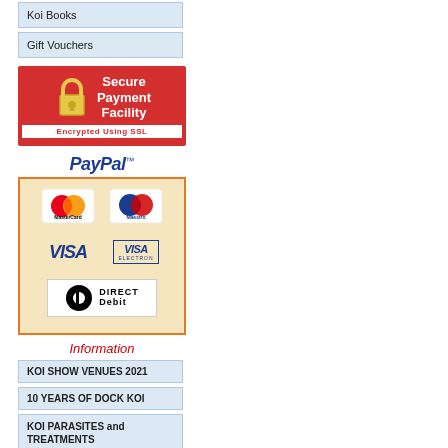Koi Books
Gift Vouchers
[Figure (illustration): Red Secure Payment Facility badge with padlock icon and 'Encrypted Using SSL' text]
[Figure (illustration): PayPal payment methods box showing MasterCard, Maestro, VISA, VISA Electron, and Direct Debit logos]
Information
KOI SHOW VENUES 2021
10 YEARS OF DOCK KOI
KOI PARASITES and TREATMENTS
Important Information